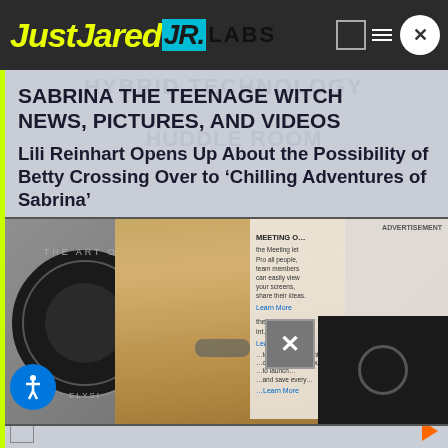JustJared JR. LABS
SABRINA THE TEENAGE WITCH NEWS, PICTURES, AND VIDEOS
Lili Reinhart Opens Up About the Possibility of Betty Crossing Over to 'Chilling Adventures of Sabrina'
[Figure (photo): Screenshot of JustJared Jr. website showing Lili Reinhart photo with overlaid advertisement and video player panel]